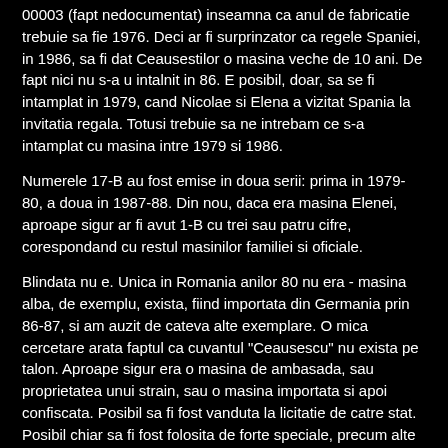00003 (fapt nedocumentat) inseamna ca anul de fabricatie trebuie sa fie 1976. Deci ar fi surprinzator ca regele Spaniei, in 1986, sa fi dat Ceausestilor o masina veche de 10 ani. De fapt nici nu s-a u intalnit in 86. E posibil, doar, sa se fi intamplat in 1979, cand Nicolae si Elena a vizitat Spania la invitatia regala. Totusi trebuie sa ne intrebam ce s-a intamplat cu masina intre 1979 si 1986.
Numerele 17-B au fost emise in doua serii: prima in 1979-80, a doua in 1987-88. Din nou, daca era masina Elenei, aproape sigur ar fi avut 1-B cu trei sau patru cifre, corespondand cu restul masinilor familiei si oficiale.
Blindata nu e. Unica in Romania anilor 80 nu era - masina alba, de exemplu, exista, fiind importata din Germania prin 86-87, si am auzit de cateva alte exemplare. O mica cercetare arata faptul ca cuvantul "Ceausescu" nu exista pe talon. Aproape sigur era o masina de ambasada, sau proprietatea unui strain, sau o masina importata si apoi confiscata. Posibil sa fi fost vanduta la licitatie de catre stat. Posibil chiar sa fi fost folosita de forte speciale, precum alte "masini tari". Samburele de adevar exista intrucat Nicu Ceasuescu la un moment intr-adevar avea un Citroen, inmatriculat 1-B-232. In plus, nu e primul CX "al Elenei" sa fie pus la vanzare ... acum cativa ani exista si